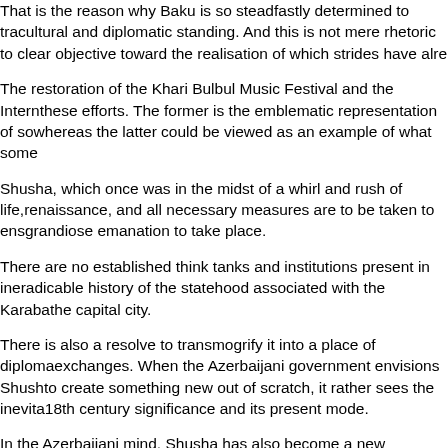That is the reason why Baku is so steadfastly determined to transform its cultural and diplomatic standing. And this is not mere rhetoric to achieve a clear objective toward the realisation of which strides have already been made.
The restoration of the Khari Bulbul Music Festival and the International these efforts. The former is the emblematic representation of something, whereas the latter could be viewed as an example of what some...
Shusha, which once was in the midst of a whirl and rush of life, renaissance, and all necessary measures are to be taken to ensure this grandiose emanation to take place.
There are no established think tanks and institutions present in ineradicable history of the statehood associated with the Karabakh region and the capital city.
There is also a resolve to transmogrify it into a place of diplomatic exchanges. When the Azerbaijani government envisions Shusha, to create something new out of scratch, it rather sees the inevitable 18th century significance and its present mode.
In the Azerbaijani mind, Shusha has also become a new means and progressive about contemporary Azerbaijan is being resolutely liberated territories.
From the region's administrative governance to the application of East Zangazur Economic Regions represent the future in its most...